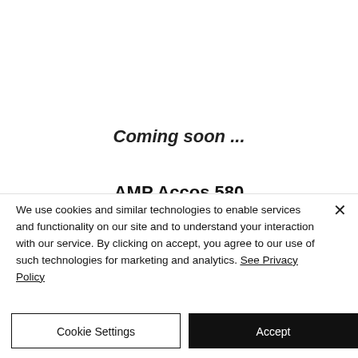Coming soon ...
AMP Accos 580
We use cookies and similar technologies to enable services and functionality on our site and to understand your interaction with our service. By clicking on accept, you agree to our use of such technologies for marketing and analytics. See Privacy Policy
Cookie Settings
Accept